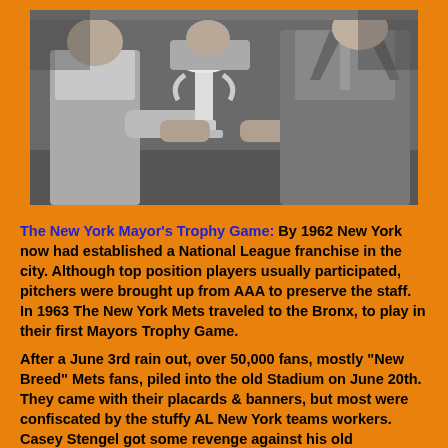[Figure (photo): Black and white photograph of men in suits holding a trophy together, indoors.]
The New York Mayor's Trophy Game: By 1962 New York now had established a National League franchise in the city. Although top position players usually participated, pitchers were brought up from AAA to preserve the staff. In 1963 The New York Mets traveled to the Bronx, to play in their first Mayors Trophy Game.
After a June 3rd rain out, over 50,000 fans, mostly "New Breed" Mets fans, piled into the old Stadium on June 20th. They came with their placards & banners, but most were confiscated by the stuffy AL New York teams workers. Casey Stengel got some revenge against his old...